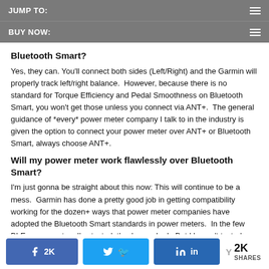JUMP TO:
BUY NOW:
Bluetooth Smart?
Yes, they can. You'll connect both sides (Left/Right) and the Garmin will properly track left/right balance.  However, because there is no standard for Torque Efficiency and Pedal Smoothness on Bluetooth Smart, you won't get those unless you connect via ANT+.  The general guidance of *every* power meter company I talk to in the industry is given the option to connect your power meter over ANT+ or Bluetooth Smart, always choose ANT+.
Will my power meter work flawlessly over Bluetooth Smart?
I'm just gonna be straight about this now: This will continue to be a mess.  Garmin has done a pretty good job in getting compatibility working for the dozen+ ways that power meter companies have adopted the Bluetooth Smart standards in power meters.  In the few BLE power meters I've tested, they've worked.  But I haven't tested